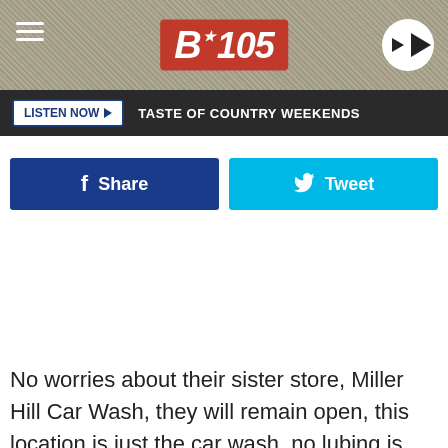[Figure (screenshot): B105 radio station header banner with hamburger menu, B105 logo in red box, and circular play button on right]
LISTEN NOW ▶  TASTE OF COUNTRY WEEKENDS
[Figure (screenshot): Social share buttons: Facebook Share button (dark blue) and Tweet button (light blue)]
No worries about their sister store, Miller Hill Car Wash, they will remain open, this location is just the car wash, no lubing is done at this location.
[Figure (screenshot): Advertisement overlay: Omegacube ERP - FRP for Automation & Growth with OPEN button]